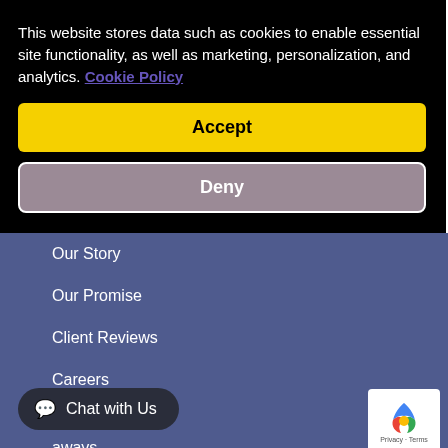This website stores data such as cookies to enable essential site functionality, as well as marketing, personalization, and analytics. Cookie Policy
Accept
Deny
Our Story
Our Promise
Client Reviews
Careers
Press Room
Chat with Us
aways